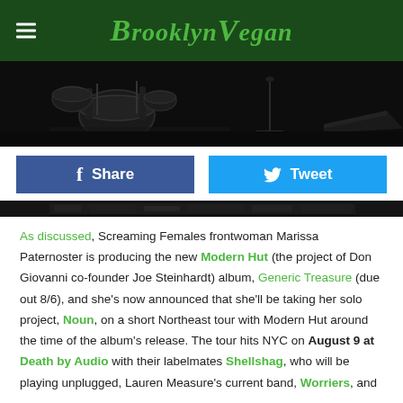BrooklynVegan
[Figure (photo): Black and white photo of concert stage equipment including drum kit and stage monitors]
[Figure (screenshot): Facebook Share button (blue) and Twitter Tweet button (cyan)]
[Figure (photo): Black and white photo strip of concert/crowd scene]
As discussed, Screaming Females frontwoman Marissa Paternoster is producing the new Modern Hut (the project of Don Giovanni co-founder Joe Steinhardt) album, Generic Treasure (due out 8/6), and she's now announced that she'll be taking her solo project, Noun, on a short Northeast tour with Modern Hut around the time of the album's release. The tour hits NYC on August 9 at Death by Audio with their labelmates Shellshag, who will be playing unplugged, Lauren Measure's current band, Worriers, and